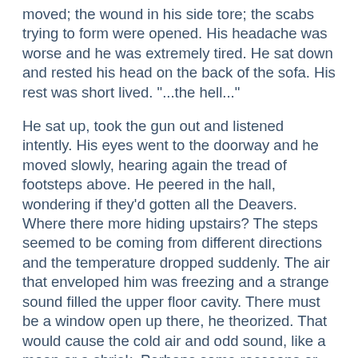moved; the wound in his side tore; the scabs trying to form were opened. His headache was worse and he was extremely tired. He sat down and rested his head on the back of the sofa. His rest was short lived. "...the hell..."
He sat up, took the gun out and listened intently. His eyes went to the doorway and he moved slowly, hearing again the tread of footsteps above. He peered in the hall, wondering if they'd gotten all the Deavers. Where there more hiding upstairs? The steps seemed to be coming from different directions and the temperature dropped suddenly. The air that enveloped him was freezing and a strange sound filled the upper floor cavity. There must be a window open up there, he theorized. That would cause the cold air and odd sound, like a moan or a shriek. Perhaps some raccoons or other small animals had gotten in. The footsteps were getting louder and he glanced back at his helpless charges for a moment, before proceeding closer to the stairwell. He couldn't afford to pass out again if there was someone else in the house. He had to find them first. Movement at the far end of the top of the staircase caught his eye. It looked like a robed figure was standing just on the other side of the